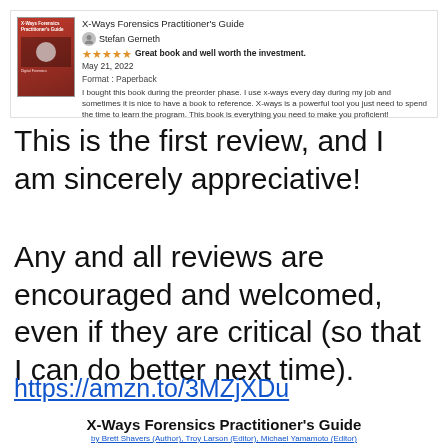[Figure (screenshot): Amazon product review screenshot showing X-Ways Forensics Practitioner's Guide book cover (red), reviewer Stefan Gerneth, 5 stars, bold title 'Great book and well worth the investment.', date May 21, 2022, Format: Paperback, and review text.]
This is the first review, and I am sincerely appreciative!
Any and all reviews are encouraged and welcomed, even if they are critical (so that I can do better next time).
https://amzn.to/3MZjXDu
X-Ways Forensics Practitioner's Guide
by Brett Shavers (Author), Troy Larson (Editor), Michael Yamamoto (Editor)